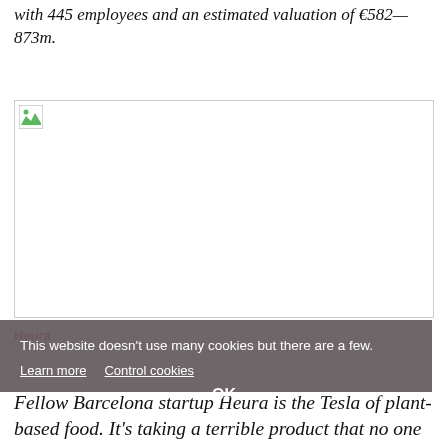with 445 employees and an estimated valuation of €582—873m.
[Figure (photo): A partially loaded or broken image placeholder in the upper portion of the page.]
This website doesn't use many cookies but there are a few. Learn more  Control cookies
OK
Fellow Barcelona startup Heura is the Tesla of plant-based food. It's taking a terrible product that no one likes (tofu) and upgrading it to a tasty and exciting